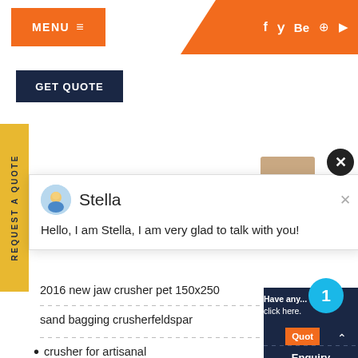MENU
GET QUOTE
REQUEST A QUOTE
Stella
Hello, I am Stella, I am very glad to talk with you!
2016 new jaw crusher pet 150x250
sand bagging crusherfeldspar
crusher for artisanal
raymond roller tiga pabrik di me ja...
Have any... click here.
1
Quot
Enquiry
drobilkalm